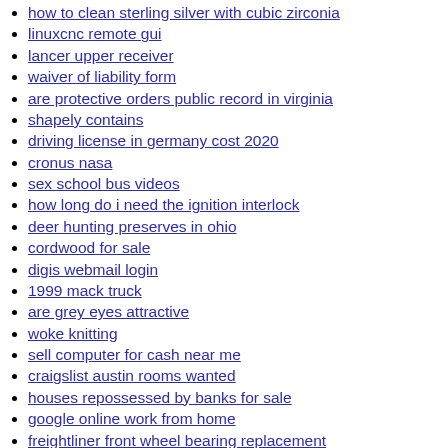how to clean sterling silver with cubic zirconia
linuxcnc remote gui
lancer upper receiver
waiver of liability form
are protective orders public record in virginia
shapely contains
driving license in germany cost 2020
cronus nasa
sex school bus videos
how long do i need the ignition interlock
deer hunting preserves in ohio
cordwood for sale
digis webmail login
1999 mack truck
are grey eyes attractive
woke knitting
sell computer for cash near me
craigslist austin rooms wanted
houses repossessed by banks for sale
google online work from home
freightliner front wheel bearing replacement
lockformer 24 gauge pittsburgh machine manual
tcl ts9030 firmware update
632 crate motor for sale
best criminal defense attorney houston